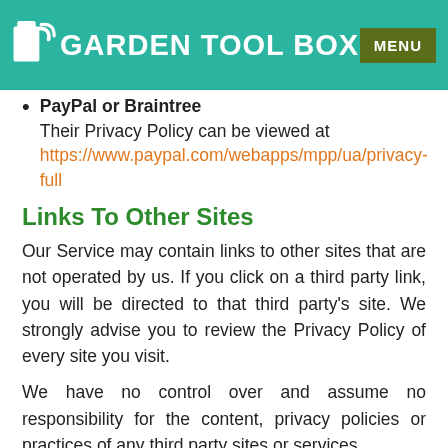GARDEN TOOL BOX | MENU
PayPal or Braintree
Their Privacy Policy can be viewed at https://www.paypal.com/webapps/mpp/ua/privacy-full
Links To Other Sites
Our Service may contain links to other sites that are not operated by us. If you click on a third party link, you will be directed to that third party's site. We strongly advise you to review the Privacy Policy of every site you visit.
We have no control over and assume no responsibility for the content, privacy policies or practices of any third party sites or services.
Children's Privacy